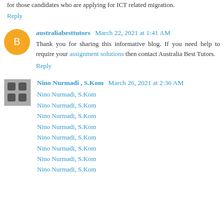for those candidates who are applying for ICT related migration.
Reply
australiabesttutors March 22, 2021 at 1:41 AM
Thank you for sharing this informative blog. If you need help to require your assignment solutions then contact Australia Best Tutors.
Reply
Nino Nurmadi , S.Kom March 26, 2021 at 2:36 AM
Nino Nurmadi, S.Kom
Nino Nurmadi, S.Kom
Nino Nurmadi, S.Kom
Nino Nurmadi, S.Kom
Nino Nurmadi, S.Kom
Nino Nurmadi, S.Kom
Nino Nurmadi, S.Kom
Nino Nurmadi, S.Kom